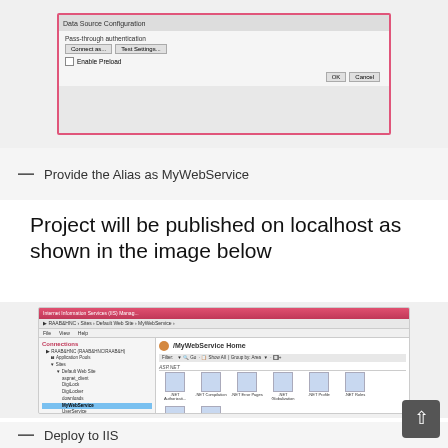[Figure (screenshot): Dialog box screenshot showing Pass-through authentication options with Connect as and Test Settings buttons, Enable Preload checkbox, and OK/Cancel buttons, with a pink/red border highlight]
— Provide the Alias as MyWebService
Project will be published on localhost as shown in the image below
[Figure (screenshot): Internet Information Services (IIS) Manager window showing MyWebService Home with left panel tree including Default Web Site and MyWebService selected, and right panel showing ASP.NET icons including .NET Authorization, .NET Compilation, .NET Error Pages, .NET Globalization, .NET Profile, .NET Roles, .NET Trust Levels, .NET Users, Session State, SMTP E-mail, and IS section with Authentication, Compression, Default Document, Directory Browsing, Error Pages, Handler Mappings, HTTP Respo..., Logging]
— Deploy to IIS